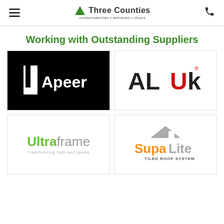Three Counties conservatories • windows • doors
Working with Outstanding Suppliers
[Figure (logo): Apeer logo — white door icon and 'Apeer' text on black background]
[Figure (logo): AluK logo — bold black and red letters 'ALUk' with registered trademark symbol]
[Figure (logo): Ultraframe logo — green 'Ultra' and grey 'frame' text with tagline 'Transforming light and space']
[Figure (logo): SupaLite Tiled Roof System logo — orange and grey text with roof icon]